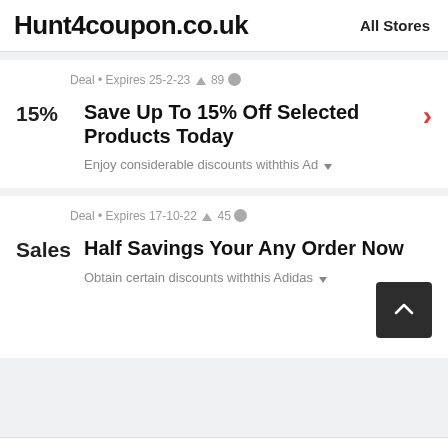Hunt4coupon.co.uk   All Stores
Deal • Expires 25-2-23 🔔 89 👤
15%
Save Up To 15% Off Selected Products Today
Enjoy considerable discounts withthis Ad
Deal • Expires 17-10-22 🔔 45 👤
Sales
Half Savings Your Any Order Now
Obtain certain discounts withthis Adidas